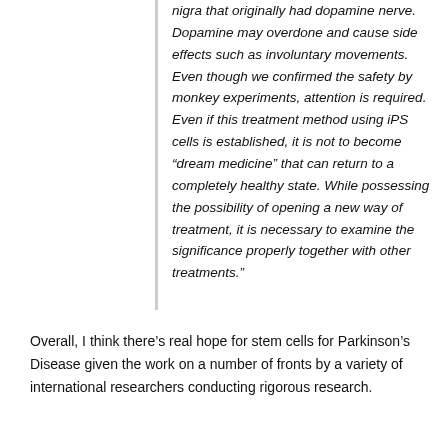nigra that originally had dopamine nerve. Dopamine may overdone and cause side effects such as involuntary movements. Even though we confirmed the safety by monkey experiments, attention is required. Even if this treatment method using iPS cells is established, it is not to become “dream medicine” that can return to a completely healthy state. While possessing the possibility of opening a new way of treatment, it is necessary to examine the significance properly together with other treatments.”
Overall, I think there’s real hope for stem cells for Parkinson’s Disease given the work on a number of fronts by a variety of international researchers conducting rigorous research.